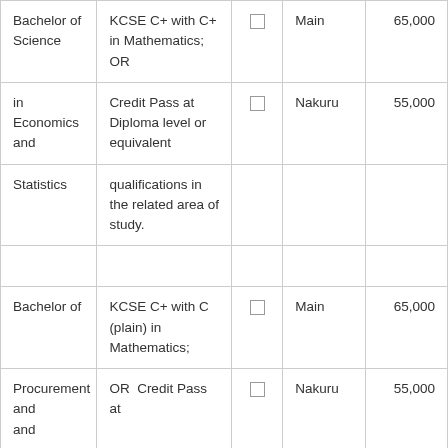| Bachelor of Science | KCSE C+ with C+ in Mathematics; OR | ☐ | Main | 65,000 |
| in Economics and | Credit Pass at Diploma level or equivalent | ☐ | Nakuru | 55,000 |
| Statistics | qualifications in the related area of study. |  |  |  |
|  |  |  |  |  |
| Bachelor of | KCSE C+ with C (plain) in Mathematics; | ☐ | Main | 65,000 |
| Procurement and | OR  Credit Pass at | ☐ | Nakuru | 55,000 |